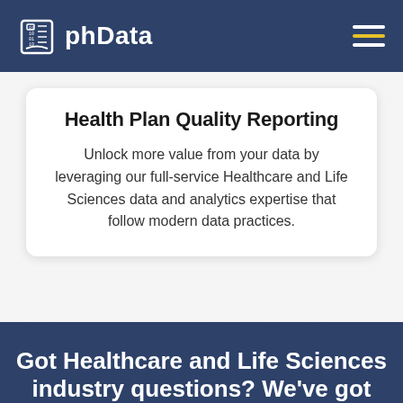phData
Health Plan Quality Reporting
Unlock more value from your data by leveraging our full-service Healthcare and Life Sciences data and analytics expertise that follow modern data practices.
Got Healthcare and Life Sciences industry questions? We've got